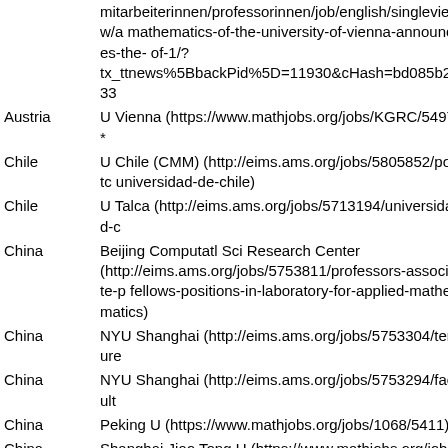| Country | Institution |
| --- | --- |
|  | mitarbeiterinnen/professorinnen/job/english/singleview/a mathematics-of-the-university-of-vienna-announces-the- of-1/? tx_ttnews%5BbackPid%5D=11930&cHash=bd085b2233 |
| Austria | U Vienna (https://www.mathjobs.org/jobs/KGRC/5497) * |
| Chile | U Chile (CMM) (http://eims.ams.org/jobs/5805852/postc universidad-de-chile) |
| Chile | U Talca (http://eims.ams.org/jobs/5713194/universidad-c |
| China | Beijing Computatl Sci Research Center (http://eims.ams.org/jobs/5753811/professors-associate-p fellows-positions-in-laboratory-for-applied-mathematics) |
| China | NYU Shanghai (http://eims.ams.org/jobs/5753304/tenure |
| China | NYU Shanghai (http://eims.ams.org/jobs/5753294/facult |
| China | Peking U (https://www.mathjobs.org/jobs/1068/5411) * |
| China | Shanghai Jiao Tong U (https://www.mathjobs.org/jobs/SJ |
| China | South U Science & Technology China (https://www.math |
| China | South U Science & Technology China (https://www.math |
| China | South U Science & Technology China (https://www.math |
| China | South U Science & Technology China (https://www.math |
| China | Tsinghua U (MSC) (http://eims.ams.org/jobs/5691378/di professorship-associate-professorship-assistant-professor |
| Colombia | Universidad de los Andes (https://http://www.mathjobs.o |